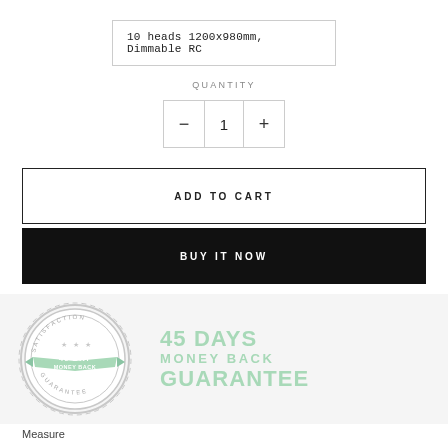10 heads 1200x980mm, Dimmable RC
QUANTITY
[Figure (other): Quantity selector with minus button, value 1, and plus button]
ADD TO CART
BUY IT NOW
[Figure (infographic): 45-Day Money Back Guarantee badge (circular stamp design in grey with mint green ribbon) alongside text '45 DAYS MONEY BACK GUARANTEE' in mint green on light grey background]
Measure